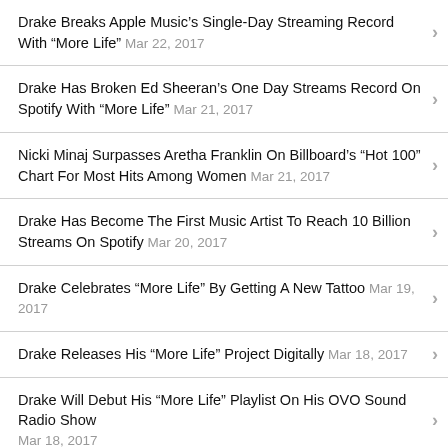Drake Breaks Apple Music’s Single-Day Streaming Record With “More Life” Mar 22, 2017
Drake Has Broken Ed Sheeran’s One Day Streams Record On Spotify With “More Life” Mar 21, 2017
Nicki Minaj Surpasses Aretha Franklin On Billboard’s “Hot 100” Chart For Most Hits Among Women Mar 21, 2017
Drake Has Become The First Music Artist To Reach 10 Billion Streams On Spotify Mar 20, 2017
Drake Celebrates “More Life” By Getting A New Tattoo Mar 19, 2017
Drake Releases His “More Life” Project Digitally Mar 18, 2017
Drake Will Debut His “More Life” Playlist On His OVO Sound Radio Show Mar 18, 2017
Jason Derulo – Swalla (Feat Nicki Minaj & Ty Dolla $ign) [Music Video]